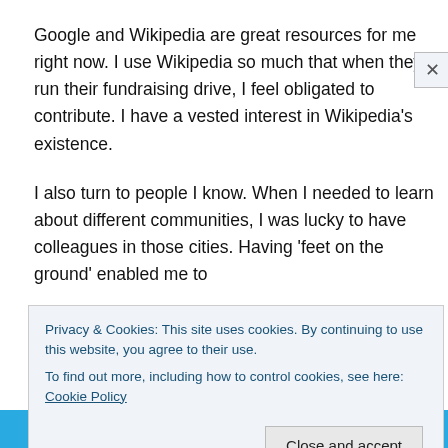Google and Wikipedia are great resources for me right now. I use Wikipedia so much that when they run their fundraising drive, I feel obligated to contribute. I have a vested interest in Wikipedia's existence.
I also turn to people I know. When I needed to learn about different communities, I was lucky to have colleagues in those cities. Having 'feet on the ground' enabled me to
Privacy & Cookies: This site uses cookies. By continuing to use this website, you agree to their use.
To find out more, including how to control cookies, see here: Cookie Policy
Close and accept